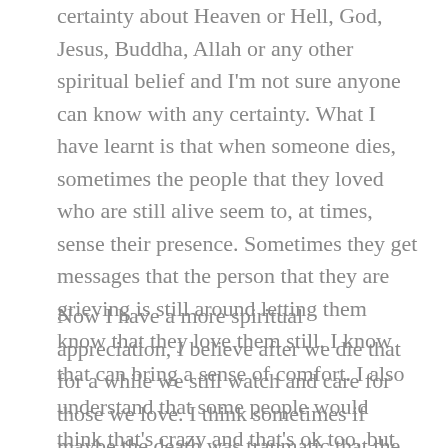certainty about Heaven or Hell, God, Jesus, Buddha, Allah or any other spiritual belief and I'm not sure anyone can know with any certainty. What I have learnt is that when someone dies, sometimes the people that they loved who are still alive seem to, at times, sense their presence. Sometimes they get messages that the person that they are grieving is still around letting them know that they love them still. I know that can bring a sense of comfort. I also understand that some people would think that's crazy and that's ok too, but maybe one day it will happen to you.
Now I have a more spiritual appreciation, I believe after we die that for a while we still watch and care for those we love. I think sometimes if maybe the death was traumatic that the spirit may not be at